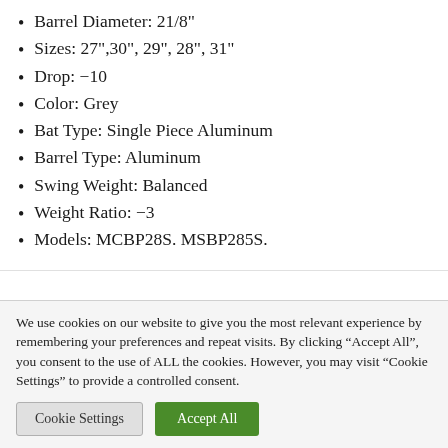Barrel Diameter: 21/8"
Sizes: 27",30", 29", 28", 31"
Drop: −10
Color: Grey
Bat Type: Single Piece Aluminum
Barrel Type: Aluminum
Swing Weight: Balanced
Weight Ratio: −3
Models: MCBP28S. MSBP285S.
We use cookies on our website to give you the most relevant experience by remembering your preferences and repeat visits. By clicking "Accept All", you consent to the use of ALL the cookies. However, you may visit "Cookie Settings" to provide a controlled consent.
Cookie Settings | Accept All